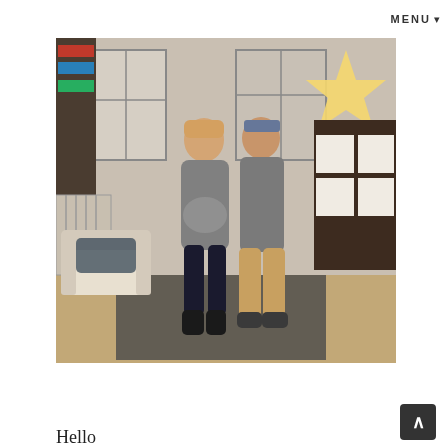MENU ▾
[Figure (photo): A pregnant woman in a grey top and black leggings stands with a man in a grey button-up shirt and khaki pants in what appears to be a nursery or living room. There is a white armchair, a crib, shelving units, a large illuminated star decoration, and a patterned rug. The room has holiday decorations visible in the background.]
Hello